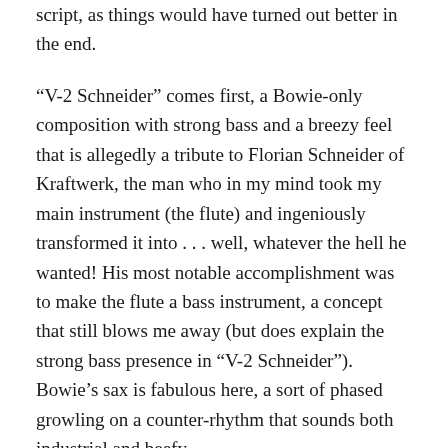script, as things would have turned out better in the end.
“V-2 Schneider” comes first, a Bowie-only composition with strong bass and a breezy feel that is allegedly a tribute to Florian Schneider of Kraftwerk, the man who in my mind took my main instrument (the flute) and ingeniously transformed it into . . . well, whatever the hell he wanted! His most notable accomplishment was to make the flute a bass instrument, a concept that still blows me away (but does explain the strong bass presence in “V-2 Schneider”). Bowie’s sax is fabulous here, a sort of phased growling on a counter-rhythm that sounds both industrial and beefy.
“Sense of Doubt” is also a Bowie-only work, an ominous and compelling piece built around a four-note descending piano motif reinforced in stereo and set in contrast to a variety of synthesized sounds ranging from movie-house organ to